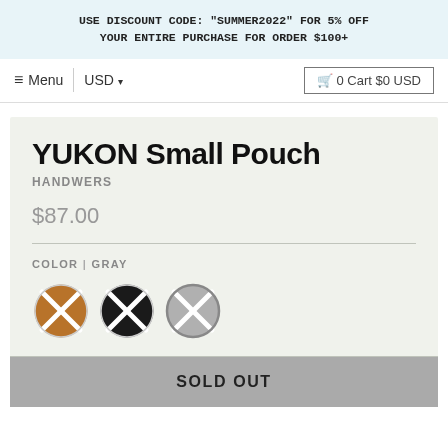USE DISCOUNT CODE: "SUMMER2022" FOR 5% OFF YOUR ENTIRE PURCHASE FOR ORDER $100+
≡ Menu  USD ▾  🛒 0 Cart $0 USD
YUKON Small Pouch
HANDWERS
$87.00
COLOR | GRAY
[Figure (illustration): Three color swatch circles with X marks: brown/tan, black, and gray (selected/active)]
SOLD OUT